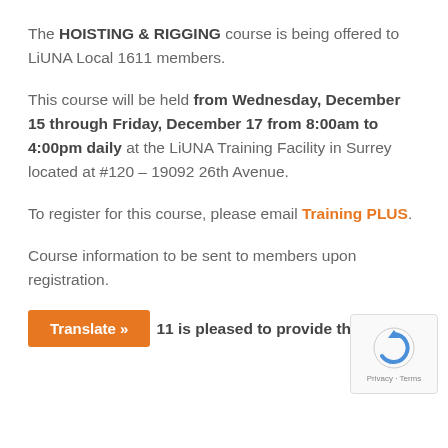The HOISTING & RIGGING course is being offered to LiUNA Local 1611 members.
This course will be held from Wednesday, December 15 through Friday, December 17 from 8:00am to 4:00pm daily at the LiUNA Training Facility in Surrey located at #120 – 19092 26th Avenue.
To register for this course, please email Training PLUS.
Course information to be sent to members upon registration.
11 is pleased to provide this